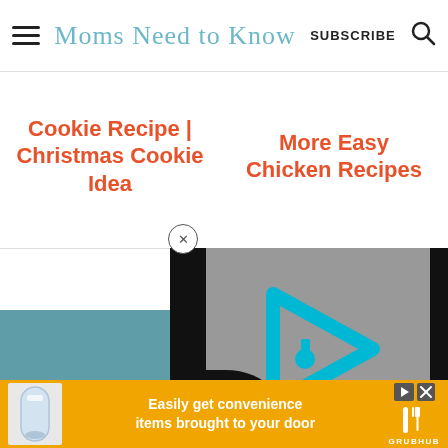Moms Need to Know — SUBSCRIBE
Cookie Recipe | Christmas Cookie Idea
More Easy Chicken Recipes
[Figure (screenshot): Video player with gray background, cyan play button logo (rounded triangle with 'i' mark), black side panels, and black curved element at bottom-left]
[Figure (other): Advertisement banner: Mayonnaise product image on left, text 'Easily get convenience items brought to your door', Grubhub logo on right]